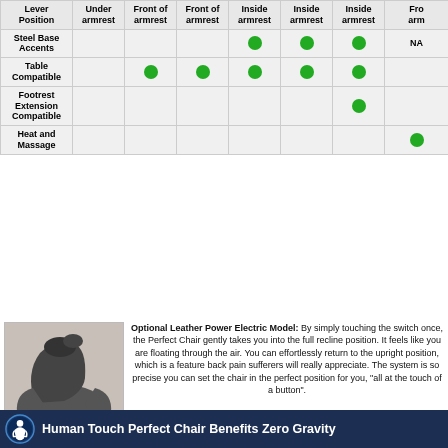| Lever Position | Under armrest | Front of armrest | Front of armrest | Inside armrest | Inside armrest | Inside armrest | Front of armrest |
| --- | --- | --- | --- | --- | --- | --- | --- |
| Steel Base Accents |  |  |  | ● | ● | ● | NA |
| Table Compatible |  | ● | ● | ● | ● | ● |  |
| Footrest Extension Compatible |  |  |  |  |  | ● |  |
| Heat and Massage |  |  |  |  |  |  | ● |
[Figure (photo): Image of a reclining zero-gravity chair with orange/red base and dark grey seat and arms]
Optional Leather Power Electric Model: By simply touching the switch once, the Perfect Chair gently takes you into the full recline position. It feels like you are floating through the air. You can effortlessly return to the upright position, which is a feature back pain sufferers will really appreciate. The system is so precise you can set the chair in the perfect position for you, "all at the touch of a button". Chairs are packed for shipping and require assembly. High performance, whisper quiet motors take the chair from upright to full recline in less than 15 seconds. Engineered for performance. The Human Touch PC-075 and PC-095 Electric Perfect Chairs have the handle switch on the end of the armrest. The Newest Series 2 PC-500 and PC-510 Perfect Chairs have the switch on the inside of the padded armrest for even easier control.
[Figure (screenshot): Video thumbnail with dark blue background showing Human Touch logo (circular icon with person in chair) and text: Human Touch Perfect Chair Benefits Zero Gravity]